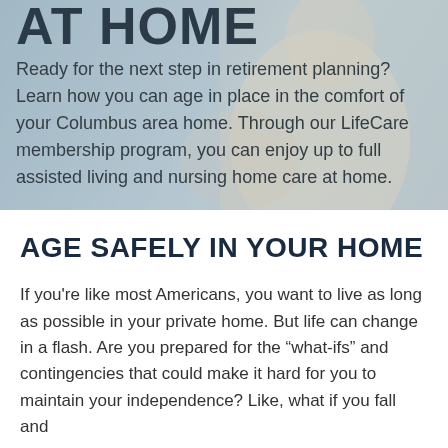[Figure (photo): Background photo of an elderly person wearing a cream-colored sweater, partially visible, with a blurred indoor background. Overlaid with the partial title text 'AT HOME' and descriptive paragraph text.]
Ready for the next step in retirement planning? Learn how you can age in place in the comfort of your Columbus area home. Through our LifeCare membership program, you can enjoy up to full assisted living and nursing home care at home.
AGE SAFELY IN YOUR HOME
If you're like most Americans, you want to live as long as possible in your private home. But life can change in a flash. Are you prepared for the “what-ifs” and contingencies that could make it hard for you to maintain your independence? Like, what if you fall and